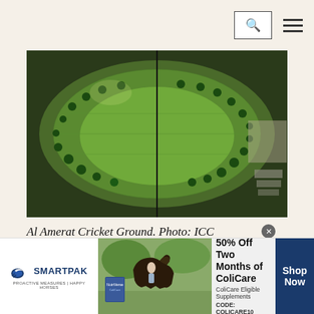[Search icon] [Hamburger menu]
[Figure (photo): Aerial view of Al Amerat Cricket Ground, a circular green cricket field surrounded by trees, viewed from above. The image appears to be a composite of two photos side by side.]
Al Amerat Cricket Ground. Photo: ICC
Located in Muscat, the capital of Oman, the Al Amerat Cricket Ground is the only stadium in
[Figure (photo): SmartPak advertisement banner: 50% Off Two Months of ColiCare. ColiCare Eligible Supplements. CODE: COLICARE10. Shop Now. Features horse and rider image.]